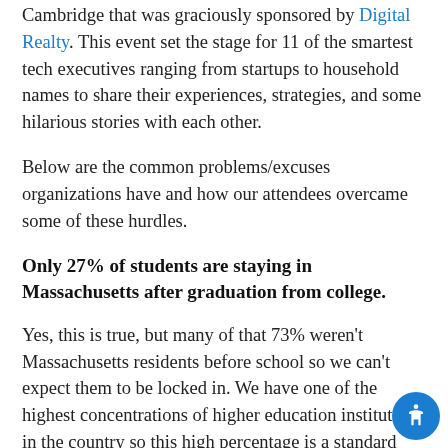Cambridge that was graciously sponsored by Digital Realty. This event set the stage for 11 of the smartest tech executives ranging from startups to household names to share their experiences, strategies, and some hilarious stories with each other.
Below are the common problems/excuses organizations have and how our attendees overcame some of these hurdles.
Only 27% of students are staying in Massachusetts after graduation from college.
Yes, this is true, but many of that 73% weren't Massachusetts residents before school so we can't expect them to be locked in. We have one of the highest concentrations of higher education institutions in the country so this high percentage is a standard that we can't